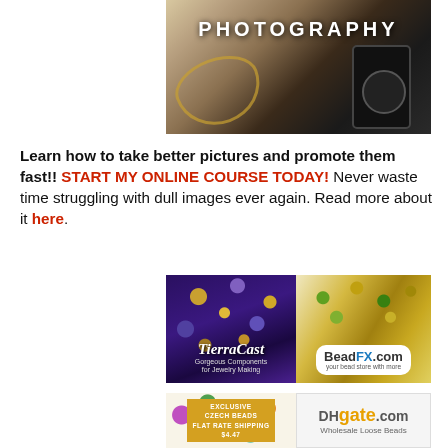[Figure (photo): Photography header image showing a phone/camera with jewelry and lighting equipment, white text PHOTOGRAPHY overlaid]
Learn how to take better pictures and promote them fast!! START MY ONLINE COURSE TODAY! Never waste time struggling with dull images ever again. Read more about it here.
[Figure (photo): TierraCast ad - left half shows purple background with gold and blue beads and jewelry components, text reads TierraCast Gorgeous Components for Jewelry Making. Right half shows BeadFX.com ad with colorful beads, logo reads BeadFX.com your bead store with more]
[Figure (photo): Bottom left ad shows colorful Czech beads with text EXCLUSIVE CZECH BEADS FLAT RATE SHIPPING $4.47. Bottom right shows DHgate.com Wholesale Loose Beads ad]